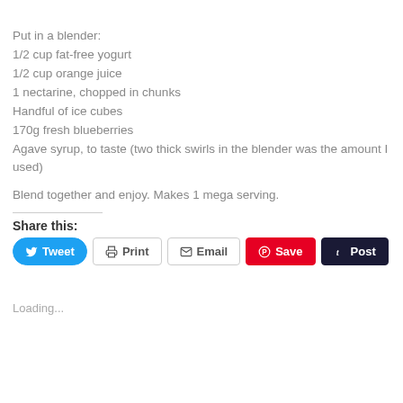Put in a blender:
1/2 cup fat-free yogurt
1/2 cup orange juice
1 nectarine, chopped in chunks
Handful of ice cubes
170g fresh blueberries
Agave syrup, to taste (two thick swirls in the blender was the amount I used)
Blend together and enjoy. Makes 1 mega serving.
Share this:
Loading...